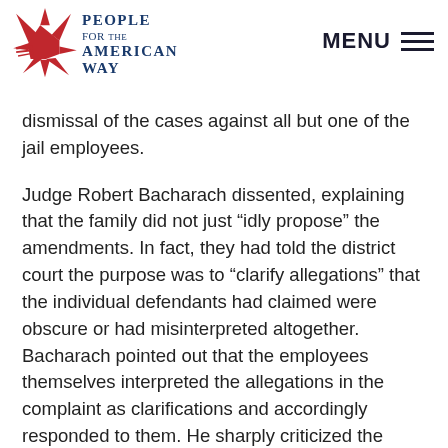People For the American Way | MENU
dismissal of the cases against all but one of the jail employees.
Judge Robert Bacharach dissented, explaining that the family did not just “idly propose” the amendments. In fact, they had told the district court the purpose was to “clarify allegations” that the individual defendants had claimed were obscure or had misinterpreted altogether. Bacharach pointed out that the employees themselves interpreted the allegations in the complaint as clarifications and accordingly responded to them. He sharply criticized the Carson majority for acting on its own initiative to “completely disregard” the allegations in the family’s second complaint.